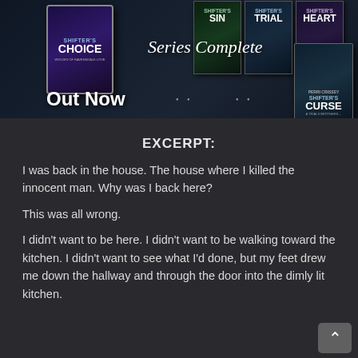[Figure (illustration): Promotional banner image for the Shifter's series of books. Shows multiple book covers including Shifter's Choice, Shifter's Sin, Shifter's Trial, Shifter's Heart, and Shifter's Curse. Text overlay reads 'Out Now' and 'Series Complete' with navigation dots.]
EXCERPT:
I was back in the house. The house where I killed the innocent man. Why was I back here?
This was all wrong.
I didn't want to be here. I didn't want to be walking toward the kitchen. I didn't want to see what I'd done, but my feet drew me down the hallway and through the door into the dimly lit kitchen.